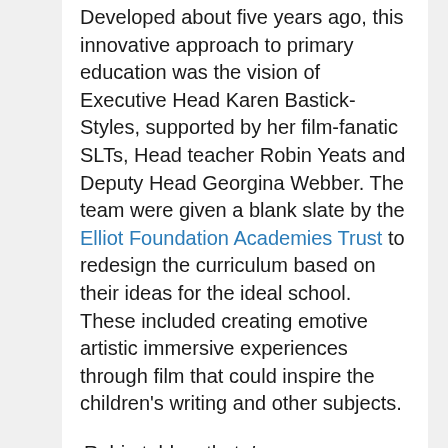Developed about five years ago, this innovative approach to primary education was the vision of Executive Head Karen Bastick-Styles, supported by her film-fanatic SLTs, Head teacher Robin Yeats and Deputy Head Georgina Webber. The team were given a blank slate by the Elliot Foundation Academies Trust to redesign the curriculum based on their ideas for the ideal school. These included creating emotive artistic immersive experiences through film that could inspire the children's writing and other subjects.
Robin told us that: 'we are a very multicultural school in very multicultural city. We have lots of children whose first language is not English'. He explained how 'film is a great leveller. Even if you don't have any English language, you